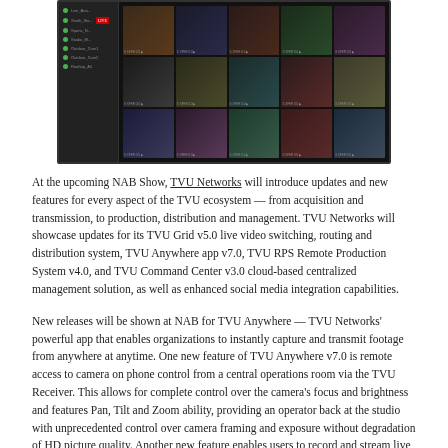[Figure (screenshot): A dark-themed video management interface showing a sidebar with colored labels and a grid of 15 video thumbnails arranged in 3 rows of 5 columns.]
At the upcoming NAB Show, TVU Networks will introduce updates and new features for every aspect of the TVU ecosystem — from acquisition and transmission, to production, distribution and management. TVU Networks will showcase updates for its TVU Grid v5.0 live video switching, routing and distribution system, TVU Anywhere app v7.0, TVU RPS Remote Production System v4.0, and TVU Command Center v3.0 cloud-based centralized management solution, as well as enhanced social media integration capabilities.
New releases will be shown at NAB for TVU Anywhere — TVU Networks' powerful app that enables organizations to instantly capture and transmit footage from anywhere at anytime. One new feature of TVU Anywhere v7.0 is remote access to camera on phone control from a central operations room via the TVU Receiver. This allows for complete control over the camera's focus and brightness and features Pan, Tilt and Zoom ability, providing an operator back at the studio with unprecedented control over camera framing and exposure without degradation of HD picture quality. Another new feature enables users to record and stream live video on